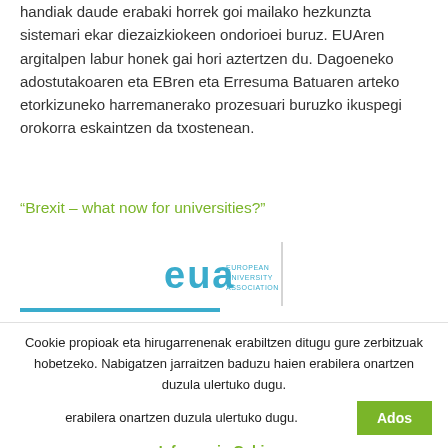handiak daude erabaki horrek goi mailako hezkunzta sistemari ekar diezaizkiokeen ondorioei buruz. EUAren argitalpen labur honek gai hori aztertzen du. Dagoeneko adostutakoaren eta EBren eta Erresuma Batuaren arteko etorkizuneko harremanerako prozesuari buruzko ikuspegi orokorra eskaintzen da txostenean.
“Brexit – what now for universities?”
[Figure (logo): EUA (European University Association) logo with teal/cyan text and a vertical gray dividing line]
Cookie propioak eta hirugarrenenak erabiltzen ditugu gure zerbitzuak hobetzeko. Nabigatzen jarraitzen baduzu haien erabilera onartzen duzula ulertuko dugu.
Ados
Informazio Gehiago